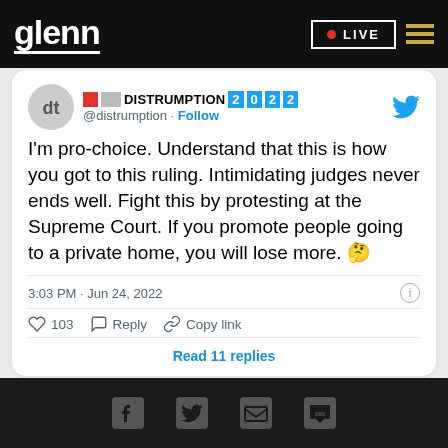glenn  • LIVE
[Figure (screenshot): Tweet from @distrumption (DISTRUMPTION 2022): I'm pro-choice. Understand that this is how you got to this ruling. Intimidating judges never ends well. Fight this by protesting at the Supreme Court. If you promote people going to a private home, you will lose more. 🤔 — 3:03 PM · Jun 24, 2022 · 103 likes · Reply · Copy link · Read 11 replies]
Facebook · Twitter · Email · SMS